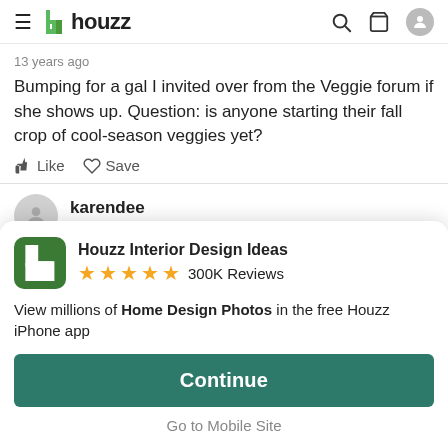houzz
13 years ago
Bumping for a gal I invited over from the Veggie forum if she shows up. Question: is anyone starting their fall crop of cool-season veggies yet?
Like  Save
karendee
13 years ago
[Figure (infographic): Houzz app promo banner with logo, 5 stars, 300K Reviews, description, Continue button, and Go to Mobile Site link]
Houzz Interior Design Ideas
★★★★★ 300K Reviews
View millions of Home Design Photos in the free Houzz iPhone app
Continue
Go to Mobile Site